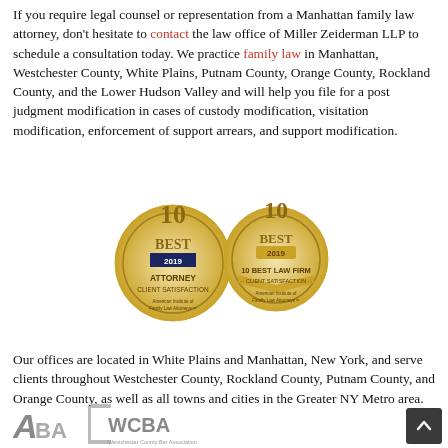If you require legal counsel or representation from a Manhattan family law attorney, don't hesitate to contact the law office of Miller Zeiderman LLP to schedule a consultation today. We practice family law in Manhattan, Westchester County, White Plains, Putnam County, Orange County, Rockland County, and the Lower Hudson Valley and will help you file for a post judgment modification in cases of custody modification, visitation modification, enforcement of support arrears, and support modification.
[Figure (illustration): Two award badges: '10 Best Attorney Client Satisfaction 2019' and '10 Best Law Firm Client Satisfaction 2019', both from the American Institute of Family Law Attorneys.]
Our offices are located in White Plains and Manhattan, New York, and serve clients throughout Westchester County, Rockland County, Putnam County, and Orange County, as well as all towns and cities in the Greater NY Metro area.
[Figure (logo): ABA and WCBA (Westchester County Bar Association) logos]